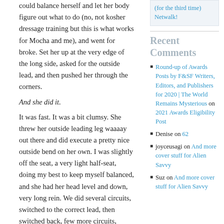could balance herself and let her body figure out what to do (no, not kosher dressage training but this is what works for Mocha and me), and went for broke.  Set her up at the very edge of the long side, asked for the outside lead, and then pushed her through the corners.
And she did it.
It was fast.  It was a bit clumsy.  She threw her outside leading leg waaaay out there and did execute a pretty nice outside bend on her own.  I was slightly off the seat, a very light half-seat, doing my best to keep myself balanced, and she had her head level and down, very long rein.  We did several circuits, switched to the correct lead, then switched back, few more circuits, whoa, praise, long rein walk, then repeat on the other side.  Both times the second request came
(for the third time) Netwalk!
Recent Comments
Round-up of Awards Posts by F&SF Writers, Editors, and Publishers for 2020 | The World Remains Mysterious on 2021 Awards Eligibility Post
Denise on 62
joyceusagi on And more cover stuff for Alien Savvy
Suz on And more cover stuff for Alien Savvy